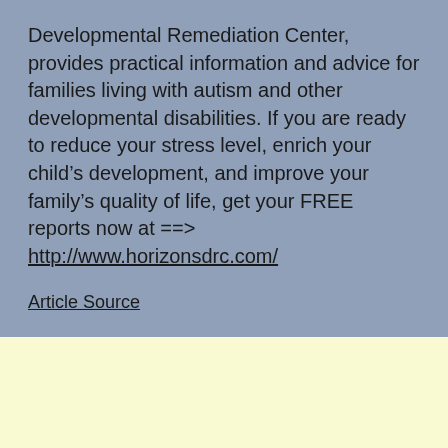Developmental Remediation Center, provides practical information and advice for families living with autism and other developmental disabilities. If you are ready to reduce your stress level, enrich your child's development, and improve your family's quality of life, get your FREE reports now at ==> http://www.horizonsdrc.com/
Article Source
Share This ∨  ×